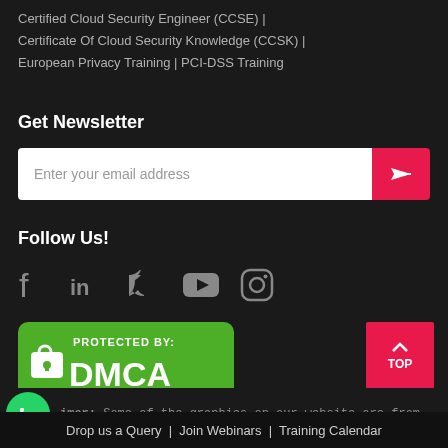Certified Cloud Security Engineer (CCSE) |
Certificate Of Cloud Security Knowledge (CCSK) |
European Privacy Training | PCI-DSS Training
Get Newsletter
Enter your email address
Follow Us!
[Figure (infographic): Social media icons: Facebook, LinkedIn, Twitter, YouTube, Instagram]
[Figure (logo): DMCA Protected By badge - green rounded rectangle with lock icon and DMCA text]
TOP
imer: Some of the graphics on our website are from
Drop us a Query  |  Join Webinars  |  Training Calendar